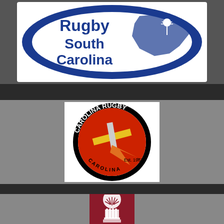[Figure (logo): Rugby South Carolina logo: blue oval border with white interior, blue text reading 'Rugby South Carolina' and silhouette of South Carolina state with palmetto tree]
[Figure (logo): Carolina Rugby logo: circular badge with black border, text 'CAROLINA RUGBY' around the top and 'Est. 1967 TM' at lower right, featuring a red and black helmet with gold and white cross design]
[Figure (logo): Partial view of a dark red/maroon circular logo with white palmetto tree and building design, partially cropped at bottom of page]